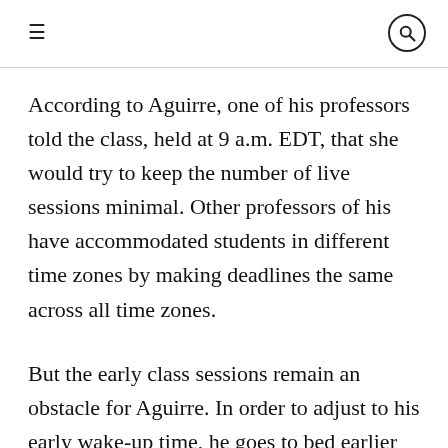≡  🔍
According to Aguirre, one of his professors told the class, held at 9 a.m. EDT, that she would try to keep the number of live sessions minimal. Other professors of his have accommodated students in different time zones by making deadlines the same across all time zones.
But the early class sessions remain an obstacle for Aguirre. In order to adjust to his early wake-up time, he goes to bed earlier than he normally would, but he still struggles to stay focused in